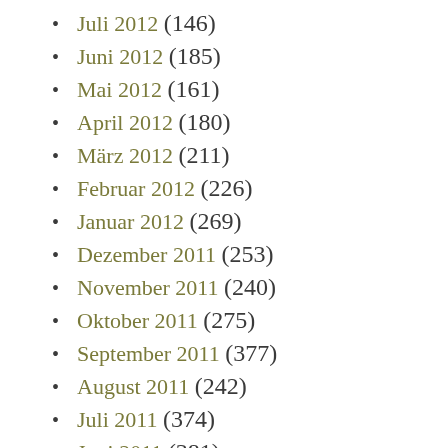Juli 2012 (146)
Juni 2012 (185)
Mai 2012 (161)
April 2012 (180)
März 2012 (211)
Februar 2012 (226)
Januar 2012 (269)
Dezember 2011 (253)
November 2011 (240)
Oktober 2011 (275)
September 2011 (377)
August 2011 (242)
Juli 2011 (374)
Juni 2011 (381)
Mai 2011 (419)
April 2011 (383)